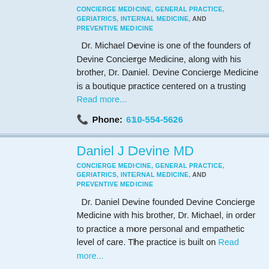CONCIERGE MEDICINE, GENERAL PRACTICE, GERIATRICS, INTERNAL MEDICINE, AND PREVENTIVE MEDICINE
Dr. Michael Devine is one of the founders of Devine Concierge Medicine, along with his brother, Dr. Daniel. Devine Concierge Medicine is a boutique practice centered on a trusting Read more...
Phone: 610-554-5626
Daniel J Devine MD
CONCIERGE MEDICINE, GENERAL PRACTICE, GERIATRICS, INTERNAL MEDICINE, AND PREVENTIVE MEDICINE
Dr. Daniel Devine founded Devine Concierge Medicine with his brother, Dr. Michael, in order to practice a more personal and empathetic level of care. The practice is built on Read more...
Phone: 610-554-5626